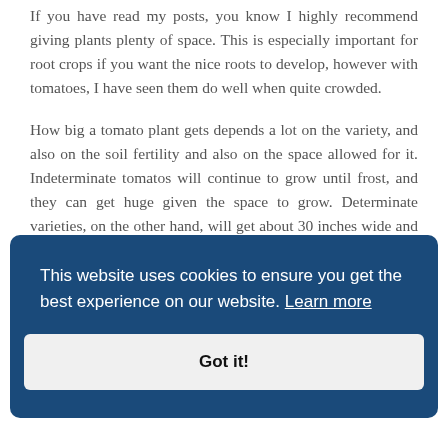If you have read my posts, you know I highly recommend giving plants plenty of space. This is especially important for root crops if you want the nice roots to develop, however with tomatoes, I have seen them do well when quite crowded.
How big a tomato plant gets depends a lot on the variety, and also on the soil fertility and also on the space allowed for it. Indeterminate tomatos will continue to grow until frost, and they can get huge given the space to grow. Determinate varieties, on the other hand, will get about 30 inches wide and have
don't.
[Figure (screenshot): Cookie consent banner overlay with dark blue background. Text reads: 'This website uses cookies to ensure you get the best experience on our website. Learn more' with a 'Got it!' button.]